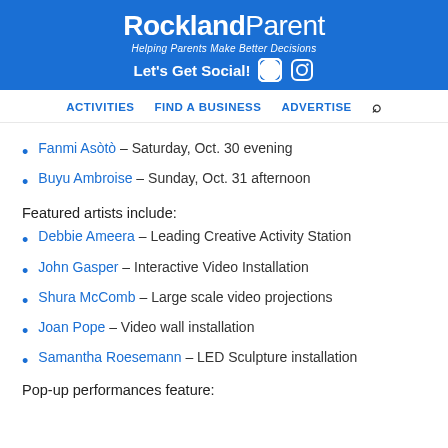Rockland Parent – Helping Parents Make Better Decisions – Let's Get Social!
ACTIVITIES   FIND A BUSINESS   ADVERTISE
Fanmi Asòtò – Saturday, Oct. 30 evening
Buyu Ambroise – Sunday, Oct. 31 afternoon
Featured artists include:
Debbie Ameera – Leading Creative Activity Station
John Gasper – Interactive Video Installation
Shura McComb – Large scale video projections
Joan Pope – Video wall installation
Samantha Roesemann – LED Sculpture installation
Pop-up performances feature: